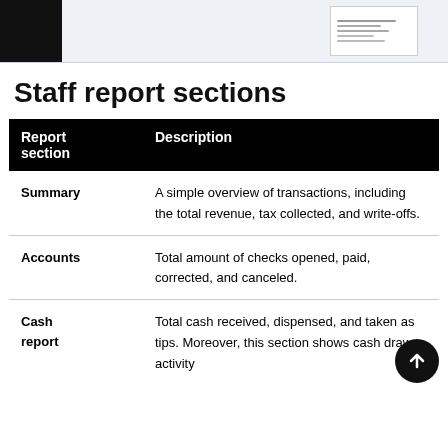[Figure (screenshot): Top banner showing a black square image on the left and a small document thumbnail on the right, on a light blue-grey background.]
Staff report sections
| Report section | Description |
| --- | --- |
| Summary | A simple overview of transactions, including the total revenue, tax collected, and write-offs. |
| Accounts | Total amount of checks opened, paid, corrected, and canceled. |
| Cash report | Total cash received, dispensed, and taken as tips. Moreover, this section shows cash drawer activity |